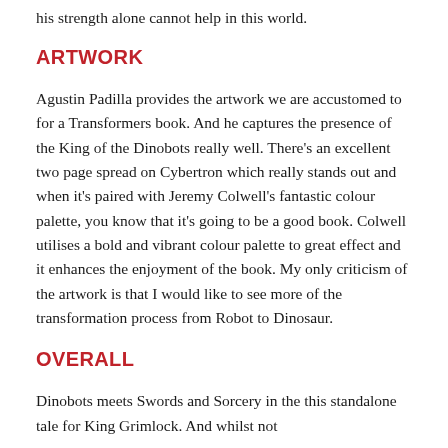his strength alone cannot help in this world.
ARTWORK
Agustin Padilla provides the artwork we are accustomed to for a Transformers book. And he captures the presence of the King of the Dinobots really well. There’s an excellent two page spread on Cybertron which really stands out and when it’s paired with Jeremy Colwell’s fantastic colour palette, you know that it’s going to be a good book. Colwell utilises a bold and vibrant colour palette to great effect and it enhances the enjoyment of the book. My only criticism of the artwork is that I would like to see more of the transformation process from Robot to Dinosaur.
OVERALL
Dinobots meets Swords and Sorcery in the this standalone tale for King Grimlock. And whilst not